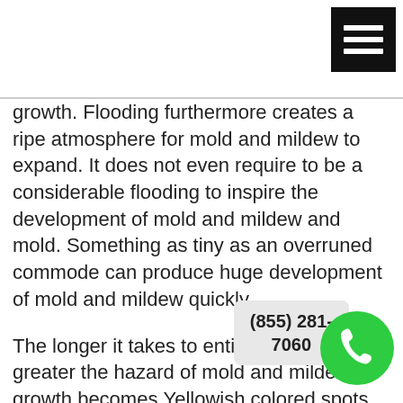[Figure (other): Hamburger menu icon — black square with three white horizontal bars, positioned top-right]
growth. Flooding furthermore creates a ripe atmosphere for mold and mildew to expand. It does not even require to be a considerable flooding to inspire the development of mold and mildew and mold. Something as tiny as an overruned commode can produce huge development of mold and mildew quickly.
The longer it takes to entirely dry out the greater the hazard of mold and mildew growth becomes.Yellowish colored spots on the wall surfaces or ceilings of your home are an additional indicator of fungus growth as are black, Green, and brown discolorations. Finding that there is a mold trouble though is simply half the fight. Now you require to locate a few terrific tips for black mold and mildew and mold removal so you can obtain busy doing away with this awful mold.
Before you make a single relocate the instructions of
[Figure (other): Phone call button — green circle with white phone handset icon, with a gray call-out bubble showing phone number (855) 281-7060]